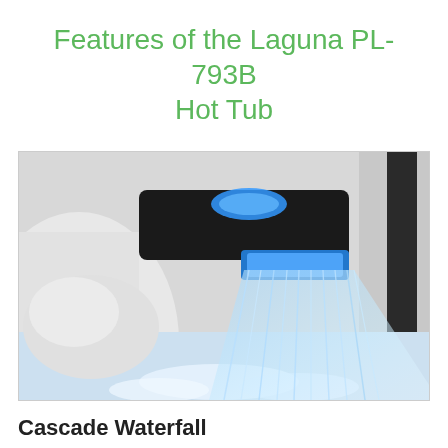Features of the Laguna PL-793B Hot Tub
[Figure (photo): Close-up photo of a hot tub cascade waterfall feature. A black rectangular waterfall spout with a blue LED light illuminates a smooth sheet of water flowing down into the white acrylic tub basin. The water streams are lit in blue-white hues against the white tub shell.]
Cascade Waterfall